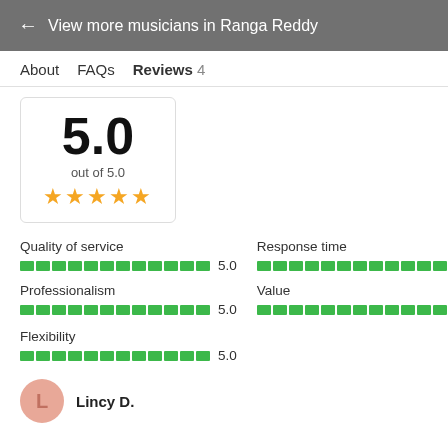← View more musicians in Ranga Reddy
About   FAQs   Reviews 4
5.0
out of 5.0
★★★★★
Quality of service  5.0
Response time  5.0
Professionalism  5.0
Value  5.0
Flexibility  5.0
Lincy D.